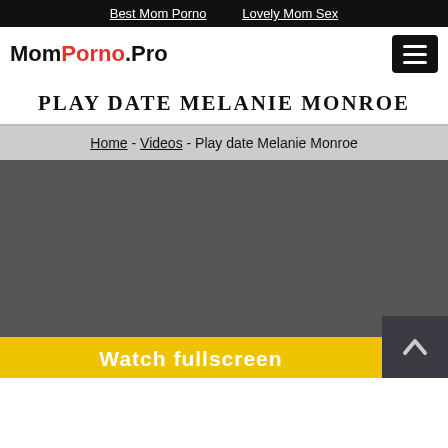Best Mom Porno   Lovely Mom Sex
MomPorno.Pro
PLAY DATE MELANIE MONROE
Home - Videos - Play date Melanie Monroe
[Figure (screenshot): Dark gray video player area, mostly empty/dark]
Watch fullscreen